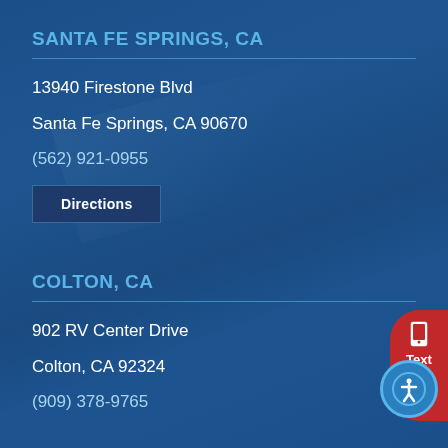SANTA FE SPRINGS, CA
13940 Firestone Blvd
Santa Fe Springs, CA 90670
(562) 921-0955
Directions
COLTON, CA
902 RV Center Drive
Colton, CA 92324
(909) 378-9765
[Figure (infographic): Red pill-shaped widget on right side showing phone icon, 'Text Us' label, and chat bubble icon]
[Figure (infographic): Blue circular accessibility/wheelchair icon button at bottom right]